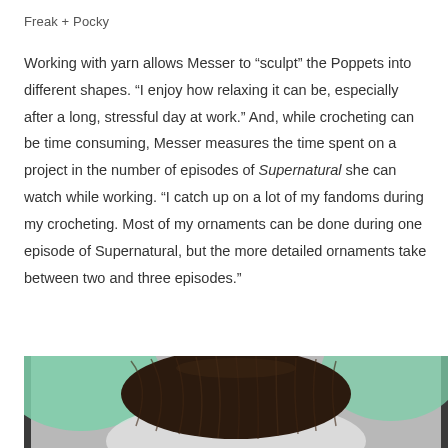Freak + Pocky
Working with yarn allows Messer to “sculpt” the Poppets into different shapes. “I enjoy how relaxing it can be, especially after a long, stressful day at work.” And, while crocheting can be time consuming, Messer measures the time spent on a project in the number of episodes of Supernatural she can watch while working. “I catch up on a lot of my fandoms during my crocheting. Most of my ornaments can be done during one episode of Supernatural, but the more detailed ornaments take between two and three episodes.”
[Figure (photo): Partial view of a person with dark brown hair from behind, wearing a light green fluffy hooded garment, against a light gray background.]